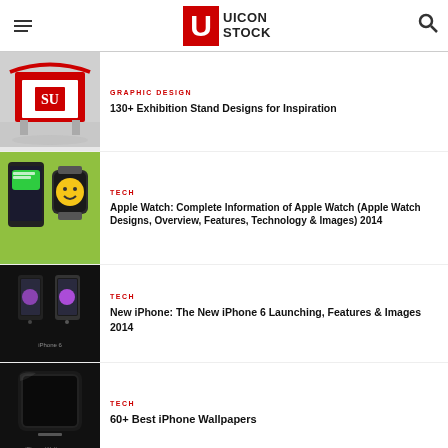UICON STOCK
GRAPHIC DESIGN | 130+ Exhibition Stand Designs for Inspiration
TECH | Apple Watch: Complete Information of Apple Watch (Apple Watch Designs, Overview, Features, Technology & Images) 2014
TECH | New iPhone: The New iPhone 6 Launching, Features & Images 2014
TECH | 60+ Best iPhone Wallpapers